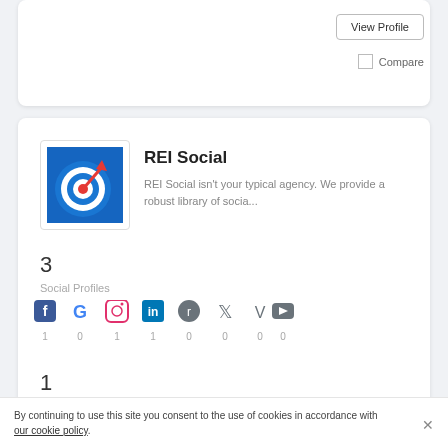View Profile
Compare
REI Social
REI Social isn't your typical agency. We provide a robust library of socia...
3
Social Profiles
[Figure (infographic): Social media platform icons (Facebook, Google, Instagram, LinkedIn, Reddit, Twitter, Vimeo, YouTube) with counts below each: 1, 0, 1, 1, 0, 0, 0, 0]
1
Team Size
[Figure (photo): Small circular avatar photo of a person]
By continuing to use this site you consent to the use of cookies in accordance with our cookie policy.